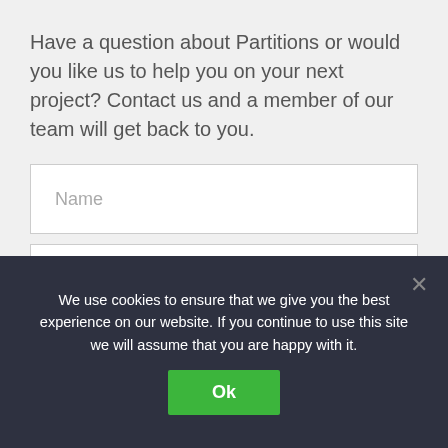Have a question about Partitions or would you like us to help you on your next project? Contact us and a member of our team will get back to you.
Name
Company name
Email
We use cookies to ensure that we give you the best experience on our website. If you continue to use this site we will assume that you are happy with it.
Ok